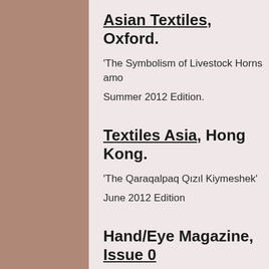Asian Textiles, Oxford.
'The Symbolism of Livestock Horns amo...
Summer 2012 Edition.
Textiles Asia, Hong Kong.
'The Qaraqalpaq Qızıl Kiymeshek'
June 2012 Edition
Hand/Eye Magazine, Issue 0...
'D...